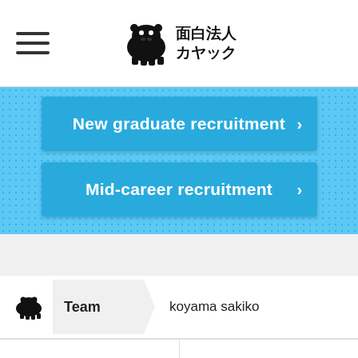面白法人カヤック
[Figure (screenshot): Blue dotted background section with two recruitment buttons: 'New graduate recruitment' and 'Mid-career recruitment']
New graduate recruitment
Mid-career recruitment
Team · koyama sakiko
| Terms of use | Privacy policy |
| Basic policy | Sitemap |
© KAYAC Inc. All Rights Reserved.